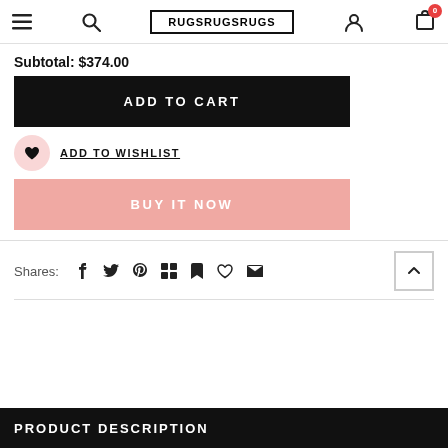RUGSRUGSRUGS
Subtotal: $374.00
ADD TO CART
ADD TO WISHLIST
BUY IT NOW
Shares:
PRODUCT DESCRIPTION